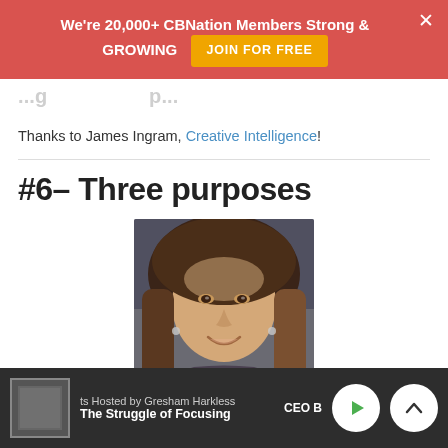We're 20,000+ CBNation Members Strong & GROWING   JOIN FOR FREE
Thanks to James Ingram, Creative Intelligence!
#6- Three purposes
[Figure (photo): Portrait photo of a woman with long brown hair, smiling, taken indoors]
ts Hosted by Gresham Harkless   The Struggle of Focusing   CEO B...   IAM...